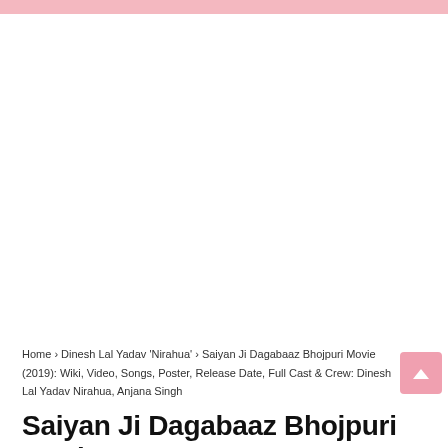[Figure (other): Advertisement/blank white area below pink header bar]
Home › Dinesh Lal Yadav 'Nirahua' › Saiyan Ji Dagabaaz Bhojpuri Movie (2019): Wiki, Video, Songs, Poster, Release Date, Full Cast & Crew: Dinesh Lal Yadav Nirahua, Anjana Singh
Saiyan Ji Dagabaaz Bhojpuri Movie